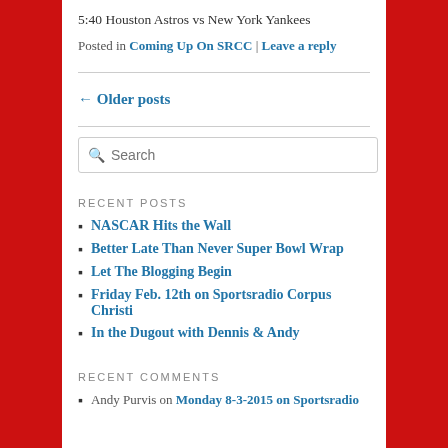5:40 Houston Astros vs New York Yankees
Posted in Coming Up On SRCC | Leave a reply
← Older posts
[Figure (other): Search input box with placeholder text 'Search' and magnifying glass icon]
RECENT POSTS
NASCAR Hits the Wall
Better Late Than Never Super Bowl Wrap
Let The Blogging Begin
Friday Feb. 12th on Sportsradio Corpus Christi
In the Dugout with Dennis & Andy
RECENT COMMENTS
Andy Purvis on Monday 8-3-2015 on Sportsradio